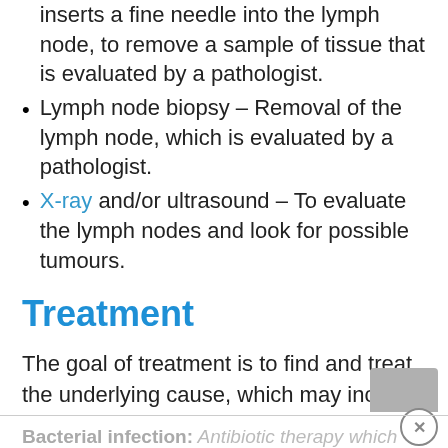inserts a fine needle into the lymph node, to remove a sample of tissue that is evaluated by a pathologist.
Lymph node biopsy – Removal of the lymph node, which is evaluated by a pathologist.
X-ray and/or ultrasound – To evaluate the lymph nodes and look for possible tumours.
Treatment
The goal of treatment is to find and treat the underlying cause, which may include:
Bacterial infection: Antibiotic therapy which